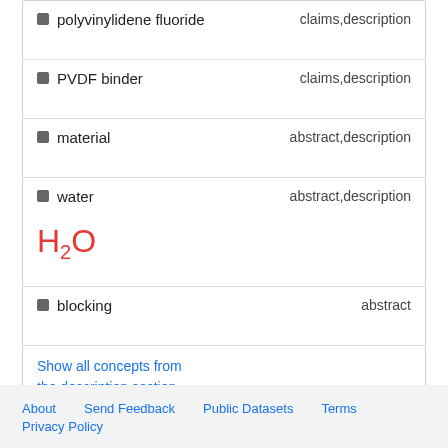| Concept | Location |
| --- | --- |
| polyvinylidene fluoride | claims,description |
| PVDF binder | claims,description |
| material | abstract,description |
| water / H2O | abstract,description |
| blocking | abstract |
Show all concepts from the description section
About   Send Feedback   Public Datasets   Terms
Privacy Policy